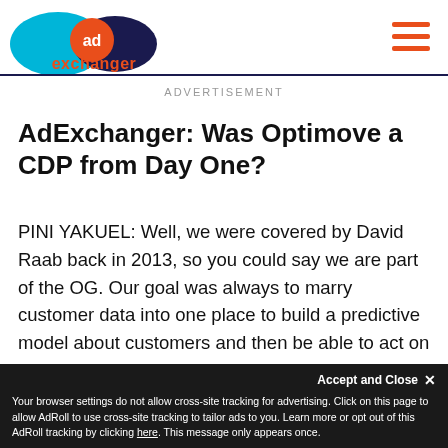[Figure (logo): AdExchanger logo: two overlapping ovals (cyan and dark navy) with orange circle containing 'ad', and orange text 'exchanger' below]
ADVERTISEMENT
AdExchanger: Was Optimove a CDP from Day One?
PINI YAKUEL: Well, we were covered by David Raab back in 2013, so you could say we are part of the OG. Our goal was always to marry customer data into one place to build a predictive model about customers and then be able to act on those insights for smarter campaigns and personalized
Accept and Close ✕
Your browser settings do not allow cross-site tracking for advertising. Click on this page to allow AdRoll to use cross-site tracking to tailor ads to you. Learn more or opt out of this AdRoll tracking by clicking here. This message only appears once.